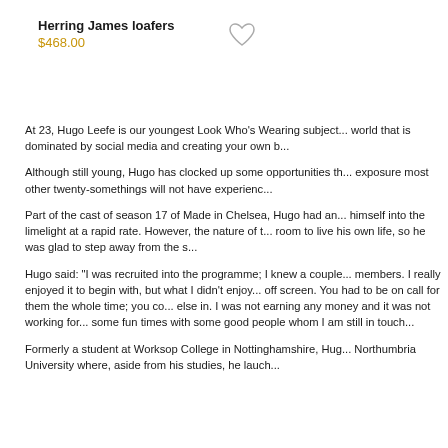Herring James loafers
$468.00
At 23, Hugo Leefe is our youngest Look Who's Wearing subject... world that is dominated by social media and creating your own b...
Although still young, Hugo has clocked up some opportunities th... exposure most other twenty-somethings will not have experienc...
Part of the cast of season 17 of Made in Chelsea, Hugo had an... himself into the limelight at a rapid rate. However, the nature of t... room to live his own life, so he was glad to step away from the s...
Hugo said: "I was recruited into the programme; I knew a couple... members. I really enjoyed it to begin with, but what I didn't enjoy... off screen. You had to be on call for them the whole time; you co... else in. I was not earning any money and it was not working for... some fun times with some good people whom I am still in touch...
Formerly a student at Worksop College in Nottinghamshire, Hug... Northumbria University where, aside from his studies, he lauch...